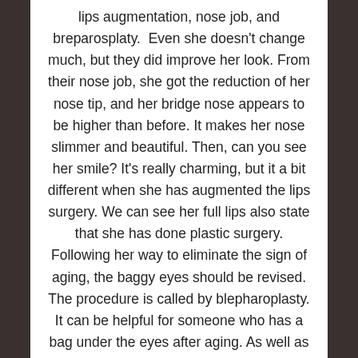lips augmentation, nose job, and breparosplaty. Even she doesn't change much, but they did improve her look. From their nose job, she got the reduction of her nose tip, and her bridge nose appears to be higher than before. It makes her nose slimmer and beautiful. Then, can you see her smile? It's really charming, but it a bit different when she has augmented the lips surgery. We can see her full lips also state that she has done plastic surgery. Following her way to eliminate the sign of aging, the baggy eyes should be revised. The procedure is called by blepharoplasty. It can be helpful for someone who has a bag under the eyes after aging. As well as the explanation stated, this procedure work best on Gina's both eyes and under the